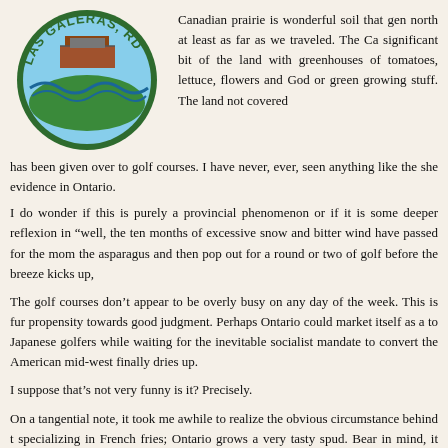[Figure (logo): Las Galeras, RD circular logo with green text, water and landscape imagery]
Canadian prairie is wonderful soil that gen north at least as far as we traveled. The Ca significant bit of the land with greenhouses of tomatoes, lettuce, flowers and God or green growing stuff. The land not covered has been given over to golf courses. I have never, ever, seen anything like the she evidence in Ontario.
I do wonder if this is purely a provincial phenomenon or if it is some deeper reflexion in “well, the ten months of excessive snow and bitter wind have passed for the mom the asparagus and then pop out for a round or two of golf before the breeze kicks up,
The golf courses don’t appear to be overly busy on any day of the week. This is fur propensity towards good judgment. Perhaps Ontario could market itself as a to Japanese golfers while waiting for the inevitable socialist mandate to convert the American mid-west finally dries up.
I suppose that’s not very funny is it? Precisely.
On a tangential note, it took me awhile to realize the obvious circumstance behind t specializing in French fries; Ontario grows a very tasty spud. Bear in mind, it ain’t n a mean French fry. It seems that selling French fries is quite the attractive proposit with peddling ersatz fudge to suspiciously gullible tourists, a perennial favourite in m
Some of you may recall the 3 days I spent years ago on an expedition to British Washington State legislators and business leaders and a fellow traveler in the labou into the delivery of medical services in Canada as the “real” Washington (Washin